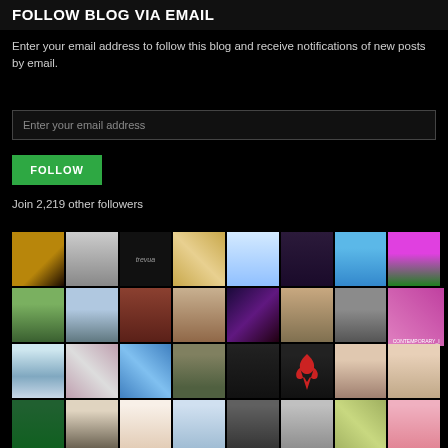FOLLOW BLOG VIA EMAIL
Enter your email address to follow this blog and receive notifications of new posts by email.
Enter your email address
FOLLOW
Join 2,219 other followers
[Figure (photo): Grid of follower avatar profile pictures, 8 columns across, 4+ rows visible]